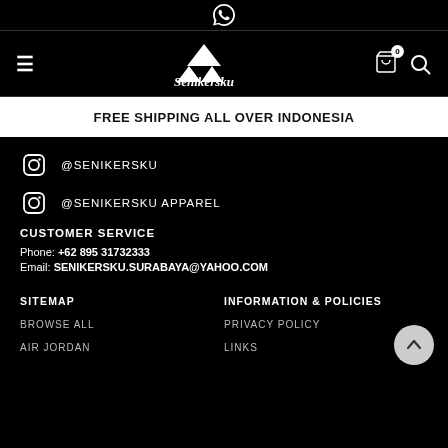WhatsApp icon (top bar)
[Figure (logo): Senikersku brand logo with mountain graphic, white text on black navigation bar]
FREE SHIPPING ALL OVER INDONESIA
@SENIKERSKU
@SENIKERSKU APPAREL
CUSTOMER SERVICE
Phone: +62 895 31732333
Email: SENIKERSKU.SURABAYA@YAHOO.COM
SITEMAP
INFORMATION & POLICIES
BROWSE ALL
PRIVACY POLICY
AIR JORDAN
LINKS